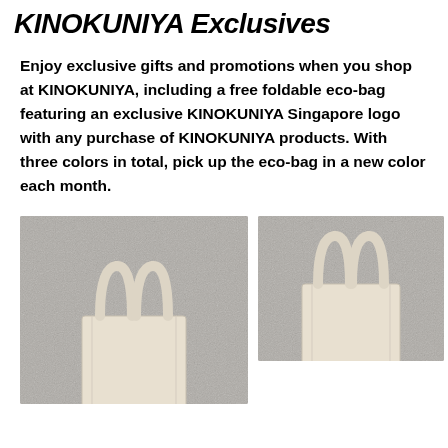KINOKUNIYA Exclusives
Enjoy exclusive gifts and promotions when you shop at KINOKUNIYA, including a free foldable eco-bag featuring an exclusive KINOKUNIYA Singapore logo with any purchase of KINOKUNIYA products. With three colors in total, pick up the eco-bag in a new color each month.
[Figure (photo): Photo of a cream/natural color canvas tote bag with handles, hanging against a grey textured background. Bag on the left, larger view.]
[Figure (photo): Photo of a cream/natural color canvas tote bag with handles, hanging against a grey textured background. Bag on the right, slightly cropped view.]